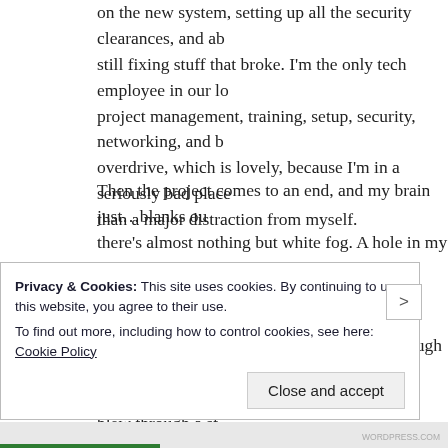on the new system, setting up all the security clearances, and ab still fixing stuff that broke. I'm the only tech employee in our lo project management, training, setup, security, networking, and b overdrive, which is lovely, because I'm in a seriously bad place than a major distraction from myself.
Then the project comes to an end, and my brain just…blanks ou there's almost nothing but white fog. A hole in my memory. A fe spent away from home for training, or a conversation with a dru country. It's not just blank in my memory, though – it's blank in living. Dangerous times, like the time I nearly blew through a st I was driving a car until I was at the intersection. It's as if my sh disappeared. I retain nothing from minute to minute. I never kno The very definition of brain-dead autopilot.
Privacy & Cookies: This site uses cookies. By continuing to use this website, you agree to their use.
To find out more, including how to control cookies, see here: Cookie Policy
Close and accept